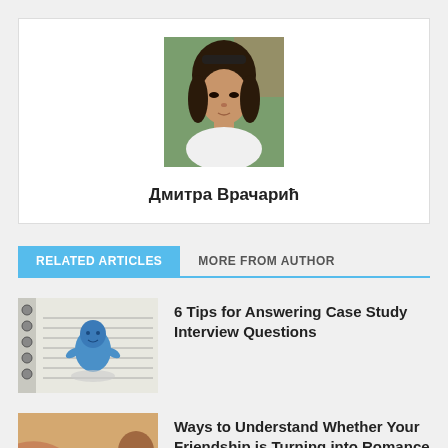[Figure (photo): Author profile photo: young woman with dark hair and sunglasses on her head, outdoors, wearing a white top]
Дмитра Врачарић
RELATED ARTICLES   MORE FROM AUTHOR
[Figure (photo): Thumbnail image: blue clay figure on a notepad with pencil sketches]
6 Tips for Answering Case Study Interview Questions
[Figure (photo): Thumbnail image: person feeding another person food, close-up]
Ways to Understand Whether Your Friendship is Turning into Romance